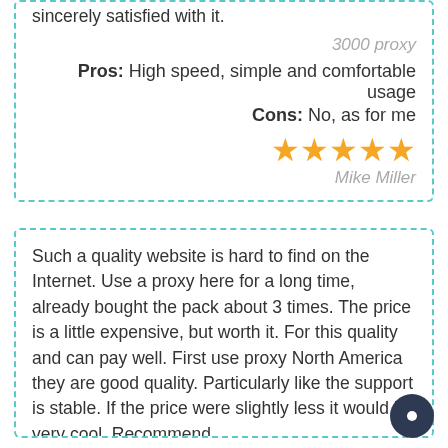sincerely satisfied with it.
3000 proxy
Pros: High speed, simple and comfortable usage
Cons: No, as for me
[Figure (other): 5 gold stars rating]
Mike Miller
Such a quality website is hard to find on the Internet. Use a proxy here for a long time, already bought the pack about 3 times. The price is a little expensive, but worth it. For this quality and can pay well. First use proxy North America they are good quality. Particularly like the support is stable. If the price were slightly less it would be very cool. Recommend.
3000 proxy